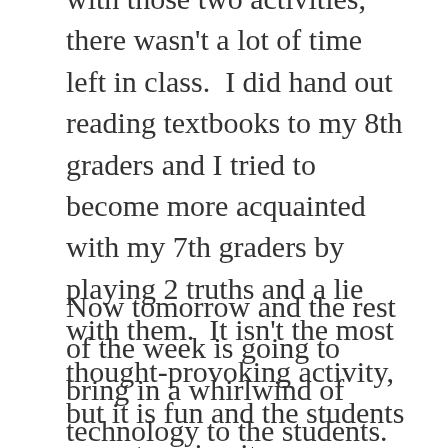with those two activities, there wasn't a lot of time left in class.  I did hand out reading textbooks to my 8th graders and I tried to become more acquainted with my 7th graders by playing 2 truths and a lie with them.  It isn't the most thought-provoking activity, but it is fun and the students seem to enjoy it.
Now tomorrow and the rest of the week is going to bring in a whirlwind of technology to the students.  Tomorrow the students will set-up their Schoology account and I will demonstrate and walk them through